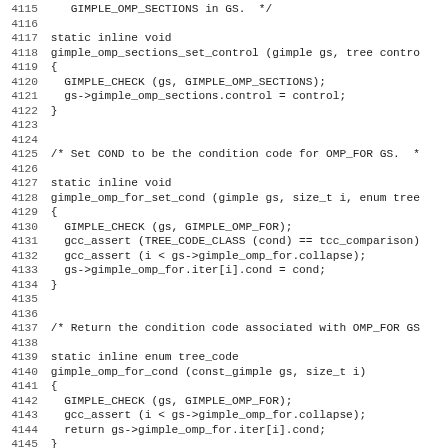Source code listing, lines 4115-4146, C/GIMPLE compiler source
4115     GIMPLE_OMP_SECTIONS in GS.  */
4116
4117 static inline void
4118 gimple_omp_sections_set_control (gimple gs, tree contro
4119 {
4120   GIMPLE_CHECK (gs, GIMPLE_OMP_SECTIONS);
4121   gs->gimple_omp_sections.control = control;
4122 }
4123
4124
4125 /* Set COND to be the condition code for OMP_FOR GS.  *
4126
4127 static inline void
4128 gimple_omp_for_set_cond (gimple gs, size_t i, enum tree
4129 {
4130   GIMPLE_CHECK (gs, GIMPLE_OMP_FOR);
4131   gcc_assert (TREE_CODE_CLASS (cond) == tcc_comparison)
4132   gcc_assert (i < gs->gimple_omp_for.collapse);
4133   gs->gimple_omp_for.iter[i].cond = cond;
4134 }
4135
4136
4137 /* Return the condition code associated with OMP_FOR GS
4138
4139 static inline enum tree_code
4140 gimple_omp_for_cond (const_gimple gs, size_t i)
4141 {
4142   GIMPLE_CHECK (gs, GIMPLE_OMP_FOR);
4143   gcc_assert (i < gs->gimple_omp_for.collapse);
4144   return gs->gimple_omp_for.iter[i].cond;
4145 }
4146